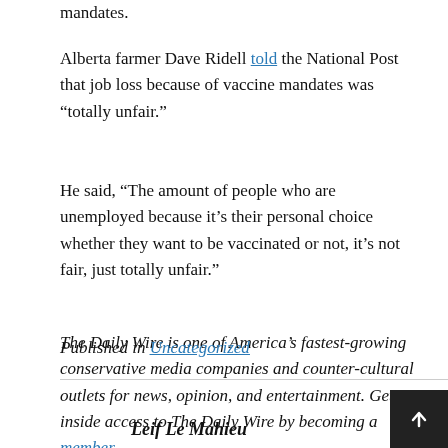mandates.
Alberta farmer Dave Ridell told the National Post that job loss because of vaccine mandates was “totally unfair.”
He said, “The amount of people who are unemployed because it’s their personal choice whether they want to be vaccinated or not, it’s not fair, just totally unfair.”
The Daily Wire is one of America’s fastest-growing conservative media companies and counter-cultural outlets for news, opinion, and entertainment. Get inside access to The Daily Wire by becoming a member.
Published in Uncategorized
Leif Le Mahieu